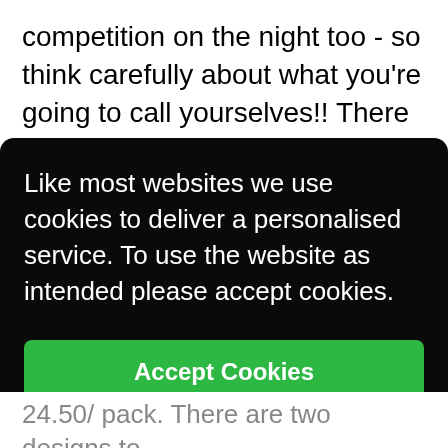competition on the night too - so think carefully about what you're going to call yourselves!! There will also be a trophy for the winning team.
It really was an evening of great fun in July and we hope that you will join us again to
Like most websites we use cookies to deliver a personalised service. To use the website as intended please accept cookies.
Accept Cookies
24.50/ pack. There are two designs to